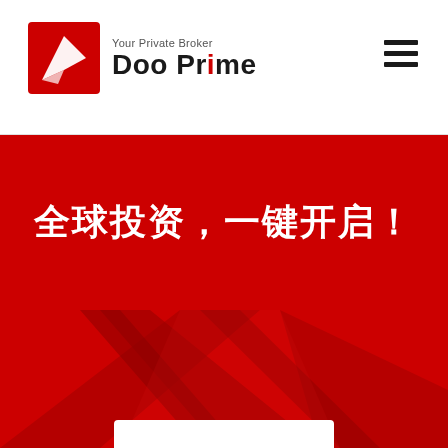[Figure (logo): Doo Prime logo with red square icon containing a white arrow/pencil mark, tagline 'Your Private Broker' and brand name 'Doo Prime' in bold black text]
[Figure (other): Hamburger menu icon (three horizontal lines) in top right corner]
全球投资，一键开启！
[Figure (illustration): Red background with geometric dark red angular shapes forming large stylized lightning bolt or arrow shapes, with a partial white rounded rectangle card at the bottom center]